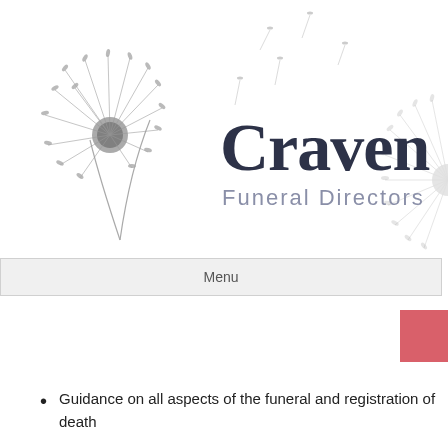[Figure (logo): Craven Funeral Directors logo with dandelion illustration. Large dandelion on left with seeds floating to the right. Text reads 'Craven' in large dark navy font and 'Funeral Directors' in smaller grey font below. Additional dandelion illustration on the right side.]
Menu
Guidance on all aspects of the funeral and registration of death